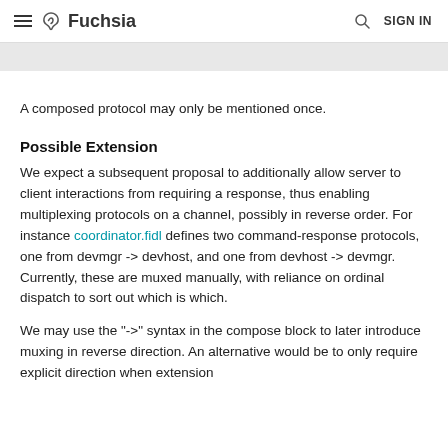Fuchsia  SIGN IN
A composed protocol may only be mentioned once.
Possible Extension
We expect a subsequent proposal to additionally allow server to client interactions from requiring a response, thus enabling multiplexing protocols on a channel, possibly in reverse order. For instance coordinator.fidl defines two command-response protocols, one from devmgr -> devhost, and one from devhost -> devmgr. Currently, these are muxed manually, with reliance on ordinal dispatch to sort out which is which.
We may use the "->" syntax in the compose block to later introduce muxing in reverse direction. An alternative would be to only require explicit direction when extension